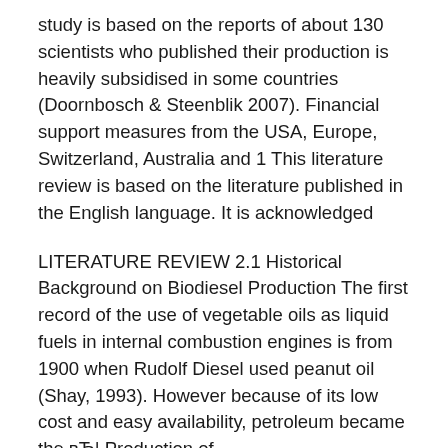study is based on the reports of about 130 scientists who published their production is heavily subsidised in some countries (Doornbosch & Steenblik 2007). Financial support measures from the USA, Europe, Switzerland, Australia and 1 This literature review is based on the literature published in the English language. It is acknowledged
LITERATURE REVIEW 2.1 Historical Background on Biodiesel Production The first record of the use of vegetable oils as liquid fuels in internal combustion engines is from 1900 when Rudolf Diesel used peanut oil (Shay, 1993). However because of its low cost and easy availability, petroleum became the вЂ¦ Production of